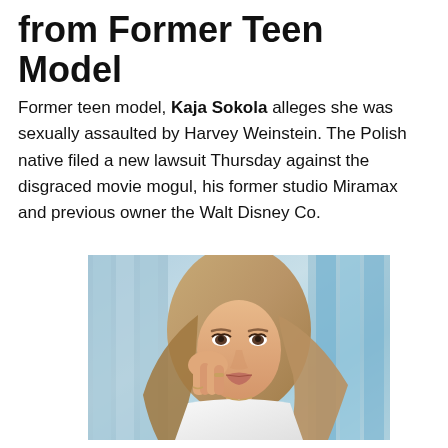from Former Teen Model
Former teen model, Kaja Sokola alleges she was sexually assaulted by Harvey Weinstein. The Polish native filed a new lawsuit Thursday against the disgraced movie mogul, his former studio Miramax and previous owner the Walt Disney Co.
[Figure (photo): Portrait photo of a young woman with long wavy blonde/light brown hair, wearing a white top, posing with one hand near her face, with an urban background]